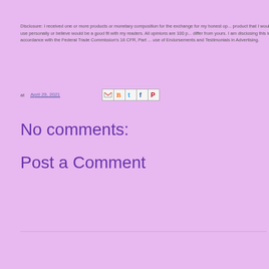Disclosure: I received one or more products or monetary composition for the exchange for my honest op... product that I would use personally or believe would be a good fit with my readers. All opinions are 100 p... differ from yours. I am disclosing this in accordance with the Federal Trade Commission's 16 CFR, Part ... use of Endorsements and Testimonials in Advertising.
at April 29, 2021
No comments:
Post a Comment